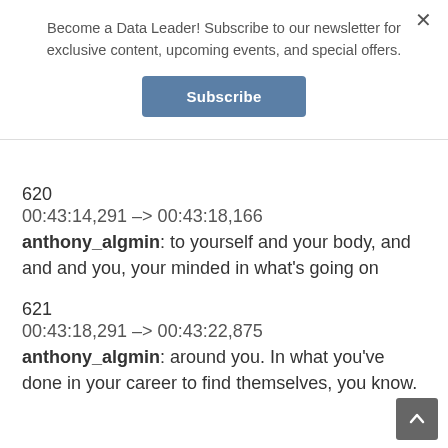Become a Data Leader! Subscribe to our newsletter for exclusive content, upcoming events, and special offers.
Subscribe
620
00:43:14,291 -> 00:43:18,166
anthony_algmin: to yourself and your body, and and and you, your minded in what’s going on
621
00:43:18,291 -> 00:43:22,875
anthony_algmin: around you. In what you’ve done in your career to find themselves, you know.